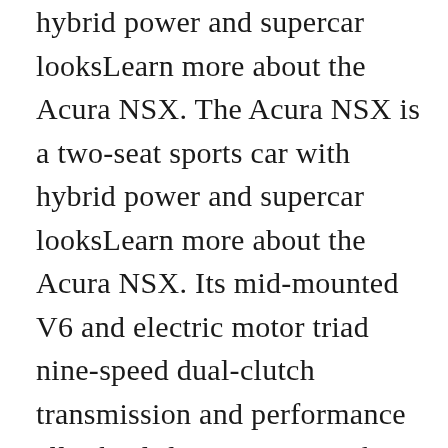hybrid power and supercar looksLearn more about the Acura NSX. The Acura NSX is a two-seat sports car with hybrid power and supercar looksLearn more about the Acura NSX. Its mid-mounted V6 and electric motor triad nine-speed dual-clutch transmission and performance all-wheel-drive system make it a. Its performance ranks it at the top of the supercar class yet it does it for. A hybrid powertrain and all-wheel drive give the NSX good fuel economy and traction for changing road conditions.